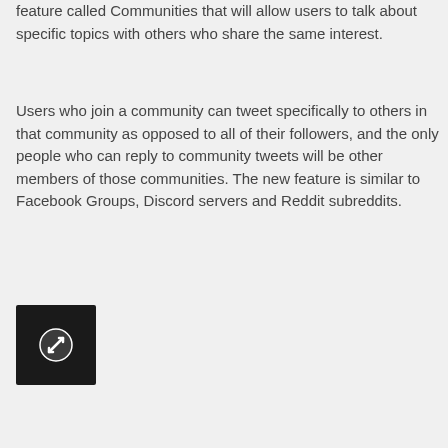feature called Communities that will allow users to talk about specific topics with others who share the same interest.
Users who join a community can tweet specifically to others in that community as opposed to all of their followers, and the only people who can reply to community tweets will be other members of those communities. The new feature is similar to Facebook Groups, Discord servers and Reddit subreddits.
[Figure (screenshot): Small dark square thumbnail with a white circle expand/resize icon in the center]